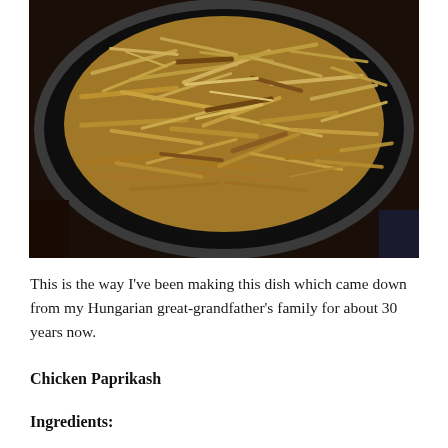[Figure (photo): Overhead view of shredded chicken paprikash in a dark round pan/skillet, showing golden-brown shredded chicken pieces.]
This is the way I've been making this dish which came down from my Hungarian great-grandfather's family for about 30 years now.
Chicken Paprikash
Ingredients: